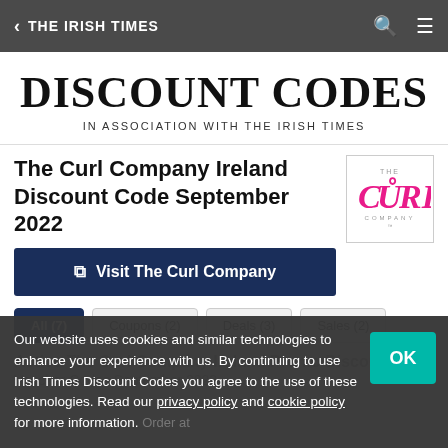< THE IRISH TIMES
DISCOUNT CODES
IN ASSOCIATION WITH THE IRISH TIMES
The Curl Company Ireland Discount Code September 2022
Visit The Curl Company
[Figure (logo): The Curl Company logo — stylized pink italic CURL text with THE and COMPANY text]
All (7)
Coupons (2)
Deals (3)
Sales (2)
Active The Curl Company Ireland Promo Discount Voucher Codes September 2022
Our website uses cookies and similar technologies to enhance your experience with us. By continuing to use Irish Times Discount Codes you agree to the use of these technologies. Read our privacy policy and cookie policy for more information.
OK